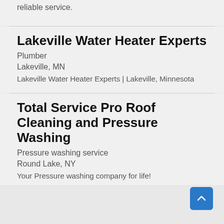reliable service.
Lakeville Water Heater Experts
Plumber
Lakeville, MN
Lakeville Water Heater Experts | Lakeville, Minnesota
Total Service Pro Roof Cleaning and Pressure Washing
Pressure washing service
Round Lake, NY
Your Pressure washing company for life!